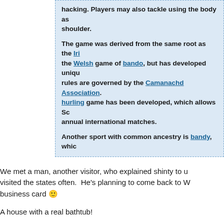hacking. Players may also tackle using the body as shoulder.

The game was derived from the same root as the Iri the Welsh game of bando, but has developed uniqu rules are governed by the Camanachd Association. hurling game has been developed, which allows Sc annual international matches.

Another sport with common ancestry is bandy, whic
We met a man, another visitor, who explained shinty to u visited the states often.  He's planning to come back to W business card 🙂
A house with a real bathtub!
A Sheep Fank and Shepherd's Bothy. A bothy is a basic sh and available for anyone to use free of charge. It was also accommodation, usually for gardeners or other workers o found in remote mountainous areas of Scotland, Norther This bothy was made from an old railway sleeper.